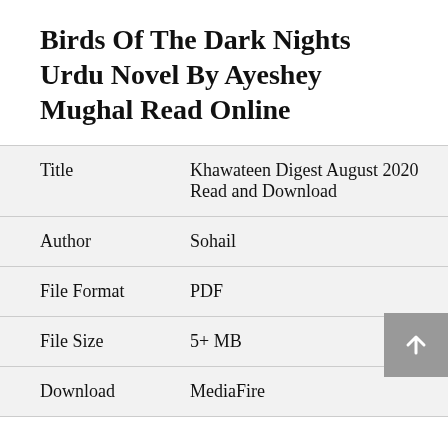Birds Of The Dark Nights Urdu Novel By Ayeshey Mughal Read Online
| Title | Khawateen Digest August 2020 Read and Download |
| Author | Sohail |
| File Format | PDF |
| File Size | 5+ MB |
| Download | MediaFire |